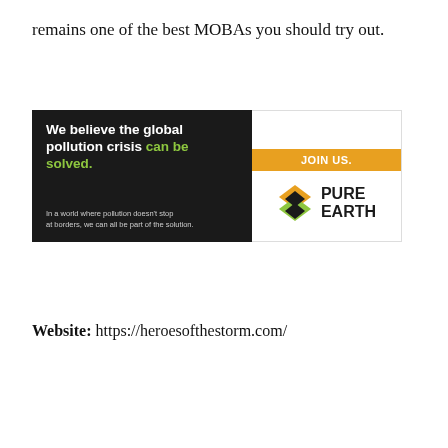remains one of the best MOBAs you should try out.
[Figure (infographic): Pure Earth advertisement banner: left side dark background with text 'We believe the global pollution crisis can be solved.' in white and green, small subtext about pollution and borders. Right side white background with orange 'JOIN US.' button and Pure Earth logo with diamond icon.]
Website: https://heroesofthestorm.com/